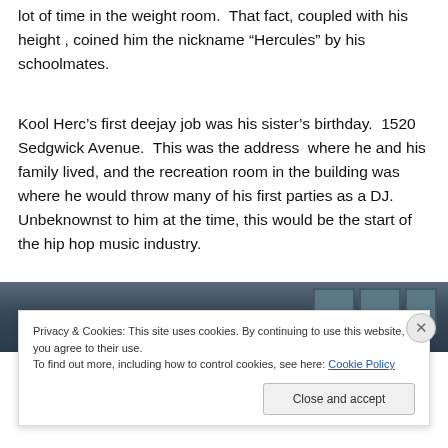lot of time in the weight room.  That fact, coupled with his height , coined him the nickname “Hercules” by his schoolmates.
Kool Herc’s first deejay job was his sister’s birthday.  1520 Sedgwick Avenue.  This was the address  where he and his family lived, and the recreation room in the building was where he would throw many of his first parties as a DJ.  Unbeknownst to him at the time, this would be the start of the hip hop music industry.
[Figure (photo): Top portion of a building exterior with windows visible against a dark background, partially obscured by cookie consent banner.]
Privacy & Cookies: This site uses cookies. By continuing to use this website, you agree to their use.
To find out more, including how to control cookies, see here: Cookie Policy
Close and accept